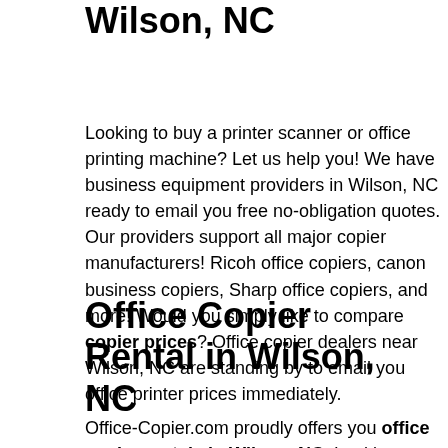Wilson, NC
Looking to buy a printer scanner or office printing machine? Let us help you! We have business equipment providers in Wilson, NC ready to email you free no-obligation quotes. Our providers support all major copier manufacturers! Ricoh office copiers, canon business copiers, Sharp office copiers, and more! Would you simply like to compare copier prices? Office copier dealers near Wilson, NC are standing by to email you office printer prices immediately.
Office Copier Rental in Wilson, NC
Office-Copier.com proudly offers you office copier rentals in Wilson, NC. Looking to rent a copier to save money? You should review your options and